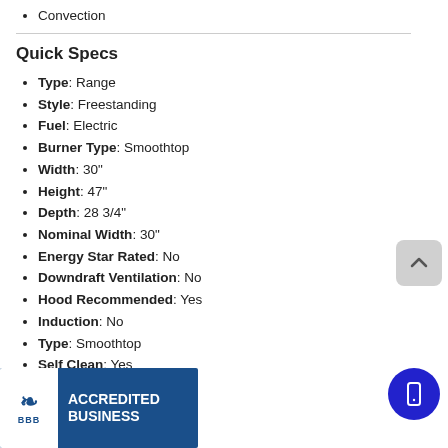Convection
Quick Specs
Type: Range
Style: Freestanding
Fuel: Electric
Burner Type: Smoothtop
Width: 30"
Height: 47"
Depth: 28 3/4"
Nominal Width: 30"
Energy Star Rated: No
Downdraft Ventilation: No
Hood Recommended: Yes
Induction: No
Type: Smoothtop
Self Clean: Yes
Convection: Yes
Drawer: Storage
First Oven: 5.3 cu. ft.
...: No
[Figure (logo): BBB Accredited Business badge with blue background]
[Figure (other): Scroll to top button (grey rounded square with upward chevron)]
[Figure (other): Mobile/phone icon button (blue circle)]